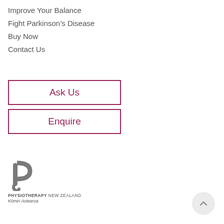Improve Your Balance
Fight Parkinson's Disease
Buy Now
Contact Us
Ask Us
Enquire
[Figure (logo): Physiotherapy New Zealand logo — stylized grey letter P with curl, with text PHYSIOTHERAPY NEW ZEALAND and italic Kōmiri Aotearoa below]
[Figure (other): Round scroll-to-top button with upward chevron arrow]